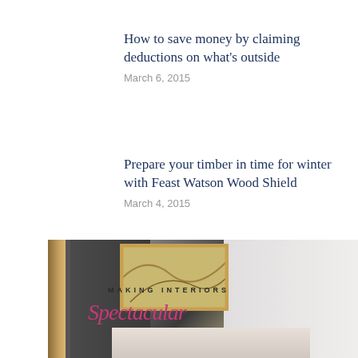How to save money by claiming deductions on what's outside
March 6, 2015
Prepare your timber in time for winter with Feast Watson Wood Shield
March 4, 2015
[Figure (photo): Interior room photo with dark wall, artwork, plants, and white paneling, overlaid with text 'MAKING INTERIORS Spectacular']